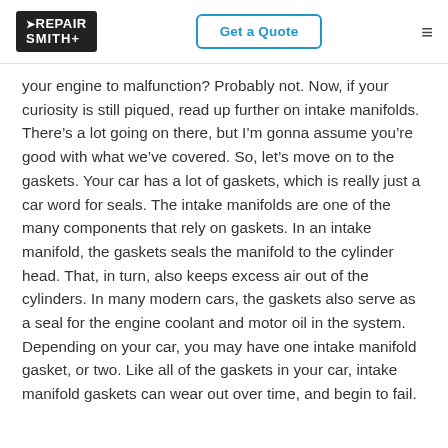RepairSmith | Get a Quote
your engine to malfunction? Probably not. Now, if your curiosity is still piqued, read up further on intake manifolds. There’s a lot going on there, but I’m gonna assume you’re good with what we’ve covered. So, let’s move on to the gaskets. Your car has a lot of gaskets, which is really just a car word for seals. The intake manifolds are one of the many components that rely on gaskets. In an intake manifold, the gaskets seals the manifold to the cylinder head. That, in turn, also keeps excess air out of the cylinders. In many modern cars, the gaskets also serve as a seal for the engine coolant and motor oil in the system. Depending on your car, you may have one intake manifold gasket, or two. Like all of the gaskets in your car, intake manifold gaskets can wear out over time, and begin to fail.